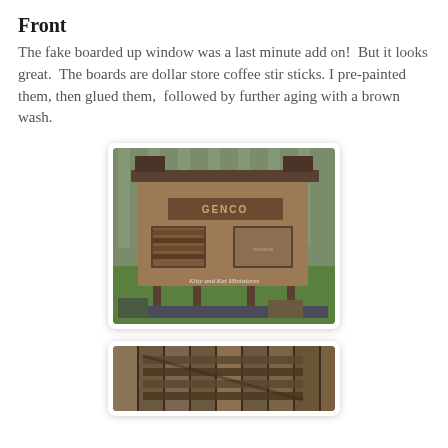Front
The fake boarded up window was a last minute add on!  But it looks great.  The boards are dollar store coffee stir sticks. I pre-painted them, then glued them,  followed by further aging with a brown wash.
[Figure (photo): Front view of a miniature rustic building model labeled 'GENCO', with weathered wood siding, a boarded-up window on the left, another window on the right, stilts/posts underneath, and a watermark reading 'Kitty and Kat Miniatures'. The model is photographed outdoors on a table with a wooden fence in the background.]
[Figure (photo): Close-up view of rustic wooden boards with weathered gray/brown finish, showing the texture of the dollar store coffee stir sticks used for the boarded-up window effect.]